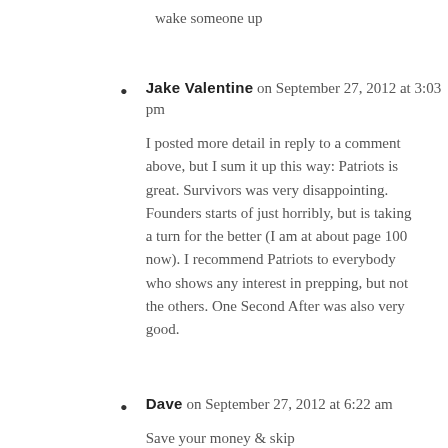wake someone up
Jake Valentine on September 27, 2012 at 3:03 pm — I posted more detail in reply to a comment above, but I sum it up this way: Patriots is great. Survivors was very disappointing. Founders starts of just horribly, but is taking a turn for the better (I am at about page 100 now). I recommend Patriots to everybody who shows any interest in prepping, but not the others. One Second After was also very good.
Dave on September 27, 2012 at 6:22 am — Save your money & skip Survivors/Founders! Patriots & How to Survive the End of the World as